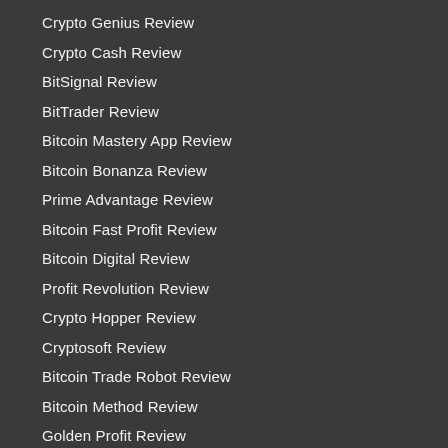Crypto Genius Review
Crypto Cash Review
BitSignal Review
BitTrader Review
Bitcoin Mastery App Review
Bitcoin Bonanza Review
Prime Advantage Review
Bitcoin Fast Profit Review
Bitcoin Digital Review
Profit Revolution Review
Crypto Hopper Review
Cryptosoft Review
Bitcoin Trade Robot Review
Bitcoin Method Review
Golden Profit Review